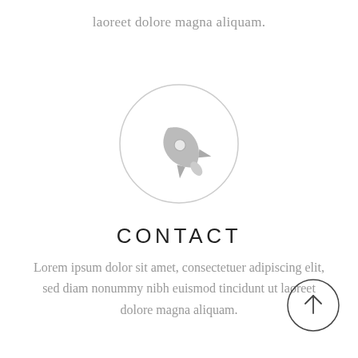laoreet dolore magna aliquam.
[Figure (illustration): A gray rocket ship icon inside a light gray circle outline]
CONTACT
Lorem ipsum dolor sit amet, consectetuer adipiscing elit, sed diam nonummy nibh euismod tincidunt ut laoreet dolore magna aliquam.
[Figure (illustration): An up-arrow inside a circle outline, back-to-top button, positioned bottom right]